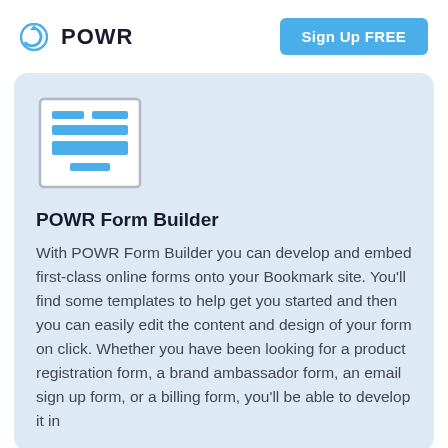POWR | Sign Up FREE
[Figure (illustration): Form builder icon: a rectangle with horizontal blue bars representing form fields inside a bordered box]
POWR Form Builder
With POWR Form Builder you can develop and embed first-class online forms onto your Bookmark site. You'll find some templates to help get you started and then you can easily edit the content and design of your form on click. Whether you have been looking for a product registration form, a brand ambassador form, an email sign up form, or a billing form, you'll be able to develop it in